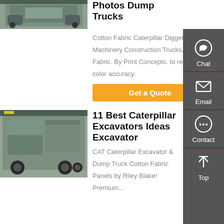[Figure (photo): Truck/heavy vehicle rear view, grey]
Photos Dump Trucks
Cotton Fabric Caterpillar Diggers Big Machinery Construction Trucks. Cotton Fabric. By Print Concepts. to represent color accuracy.
Get a Quote
[Figure (photo): Caterpillar / heavy truck side view, silver/grey]
11 Best Caterpillar Excavators Ideas Excavator
CAT Caterpillar Excavator & Dump Truck Cotton Fabric Panels by Riley Blake! Premium...